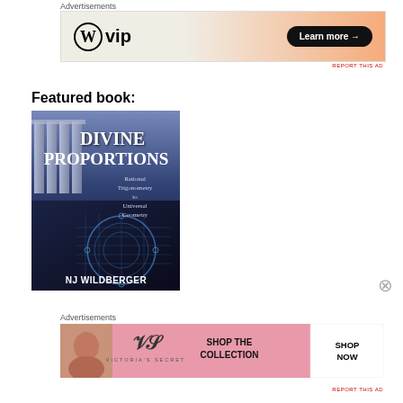Advertisements
[Figure (illustration): WordPress VIP advertisement banner with gradient orange background and 'Learn more →' button]
Featured book:
[Figure (illustration): Book cover of 'Divine Proportions: Rational Trigonometry to Universal Geometry' by NJ Wildberger, featuring classical columns and blueprint circle design]
Advertisements
[Figure (illustration): Victoria's Secret advertisement banner showing 'SHOP THE COLLECTION' with SHOP NOW button]